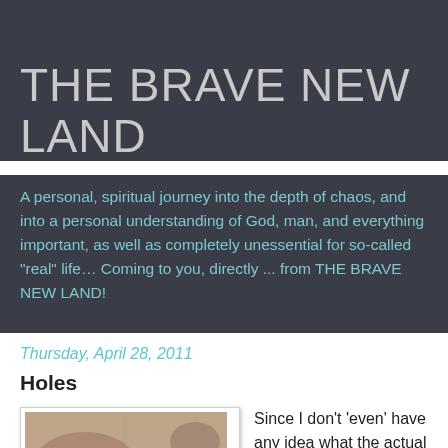THE BRAVE NEW LAND
A personal, spiritual journey into the depth of chaos, and into a personal understanding of God, man, and everything important, as well as completely unessential for so-called "real" life… Coming to you, directly ... from THE BRAVE NEW LAND!
Thursday, April 28, 2011
Holes
[Figure (photo): A close-up photograph of rocky or earthy ground texture with some vegetation, appearing brownish and reddish in color.]
Since I don't 'even' have any idea what the actual Torah Portion was